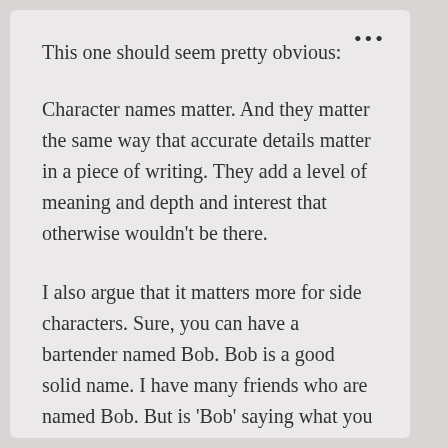This one should seem pretty obvious:
Character names matter. And they matter the same way that accurate details matter in a piece of writing. They add a level of meaning and depth and interest that otherwise wouldn't be there.
I also argue that it matters more for side characters. Sure, you can have a bartender named Bob. Bob is a good solid name. I have many friends who are named Bob. But is 'Bob' saying what you need the name to say?